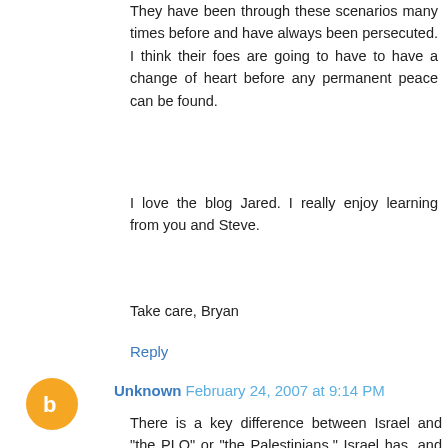They have been through these scenarios many times before and have always been persecuted. I think their foes are going to have to have a change of heart before any permanent peace can be found.
I love the blog Jared. I really enjoy learning from you and Steve.
Take care, Bryan
Reply
Unknown February 24, 2007 at 9:14 PM
There is a key difference between Israel and "the PLO" or "the Palestinians." Israel has, and has had for some time, a democratically elected government, with all the governmental infrastructure and influence that comes with that. The degree to which the PLO represents or has ever represented the wishes of the Palestinian people is less clear; the Palestinians do not have their own state. So even if it's true that "the PLO didn't want peace," I'm not sure that that translates to "the Palestinian people didn't want